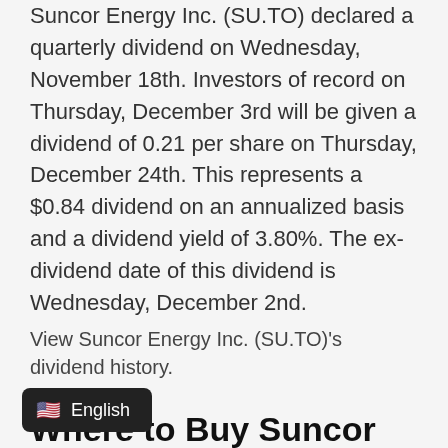Suncor Energy Inc. (SU.TO) declared a quarterly dividend on Wednesday, November 18th. Investors of record on Thursday, December 3rd will be given a dividend of 0.21 per share on Thursday, December 24th. This represents a $0.84 dividend on an annualized basis and a dividend yield of 3.80%. The ex-dividend date of this dividend is Wednesday, December 2nd.
View Suncor Energy Inc. (SU.TO)'s dividend history.
Where to Buy Suncor Energy Stocks Broker Reviews
Launched in 2007, eToro is, in our opinion, without a doubt the best broker for buying TSE:SU stocks in the